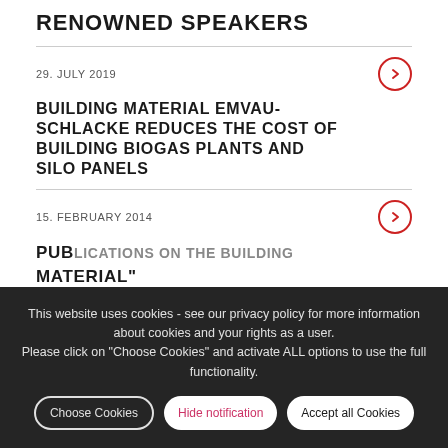RENOWNED SPEAKERS
29. JULY 2019
BUILDING MATERIAL EMVAU-SCHLACKE REDUCES THE COST OF BUILDING BIOGAS PLANTS AND SILO PANELS
15. FEBRUARY 2014
PUBLICATIONS ON THE BUILDING MATERIAL"
This website uses cookies - see our privacy policy for more information about cookies and your rights as a user. Please click on "Choose Cookies" and activate ALL options to use the full functionality.